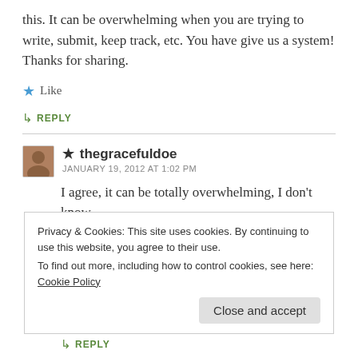this. It can be overwhelming when you are trying to write, submit, keep track, etc. You have give us a system! Thanks for sharing.
★ Like
↳ REPLY
★ thegracefuldoe
JANUARY 19, 2012 AT 1:02 PM
I agree, it can be totally overwhelming, I don't know how I would manage to keep track of everything
Privacy & Cookies: This site uses cookies. By continuing to use this website, you agree to their use.
To find out more, including how to control cookies, see here: Cookie Policy
Close and accept
↳ REPLY